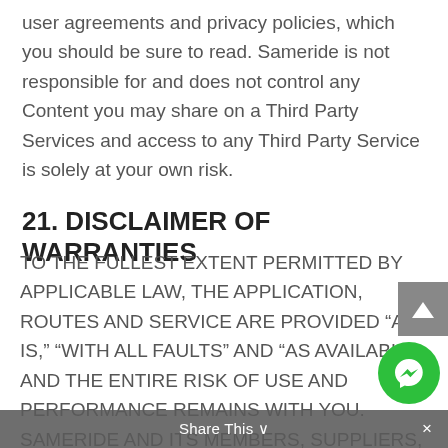user agreements and privacy policies, which you should be sure to read. Sameride is not responsible for and does not control any Content you may share on a Third Party Services and access to any Third Party Service is solely at your own risk.
21. DISCLAIMER OF WARRANTIES
TO THE FULLEST EXTENT PERMITTED BY APPLICABLE LAW, THE APPLICATION, ROUTES AND SERVICE ARE PROVIDED “AS IS,” “WITH ALL FAULTS” AND “AS AVAILABLE” AND THE ENTIRE RISK OF USE AND PERFORMANCE REMAINS WITH YOU. SAMERIDE AND ITS MEMBERS, SUPPLIERS, AND LICENSORS DO NOT MAKE ANY REPRESENTATIONS,
Share This ∨